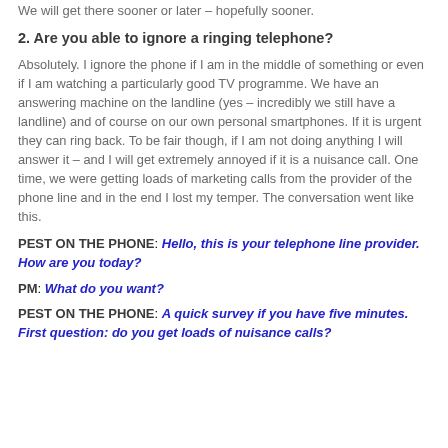We will get there sooner or later – hopefully sooner.
2. Are you able to ignore a ringing telephone?
Absolutely. I ignore the phone if I am in the middle of something or even if I am watching a particularly good TV programme. We have an answering machine on the landline (yes – incredibly we still have a landline) and of course on our own personal smartphones. If it is urgent they can ring back. To be fair though, if I am not doing anything I will answer it – and I will get extremely annoyed if it is a nuisance call. One time, we were getting loads of marketing calls from the provider of the phone line and in the end I lost my temper. The conversation went like this.
PEST ON THE PHONE: Hello, this is your telephone line provider. How are you today?
PM: What do you want?
PEST ON THE PHONE: A quick survey if you have five minutes. First question: do you get loads of nuisance calls?